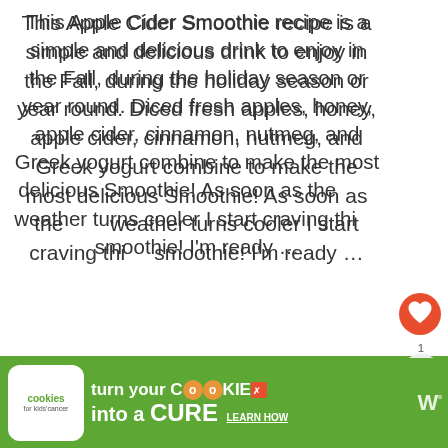This Apple Cider Smoothie recipe is a simple and delicious drink to enjoy in the Fall, during the holiday season or year round. Diced fresh apples, honey, apple cider, cinnamon, nutmeg, and Greek yogurt combine to make the most delicious Smoothie! As soon as the weather turns cooler I start craving this smoothie! I'm ready …
[Figure (other): Orange circular heart/like button icon]
[Figure (other): Share icon with count '1' above it, circular button]
[Figure (other): WHAT'S NEXT arrow label with thumbnail image and text '15 Irresistible Chocolate...']
READ MORE
[Figure (other): Advertisement banner: cookies for kids cancer - turn your COOKIES into a CURE LEARN HOW]